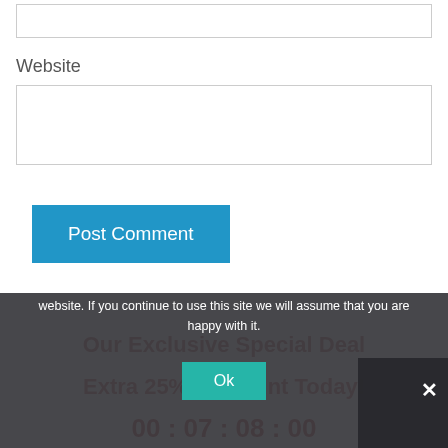[Figure (screenshot): Top input box (partially visible at top of page), empty white text input field with border]
Website
[Figure (screenshot): Website input field, empty white text input box with border]
[Figure (screenshot): Post Comment button, blue rectangular button with white text]
We use cookies to ensure that we give you the best experience on our website. If you continue to use this site we will assume that you are happy with it.
[Figure (screenshot): Ok button, teal/green rectangular button]
Our Exclusive Special Deal
Extra 25% Discount Today!
00 : 07 : 08 : 00